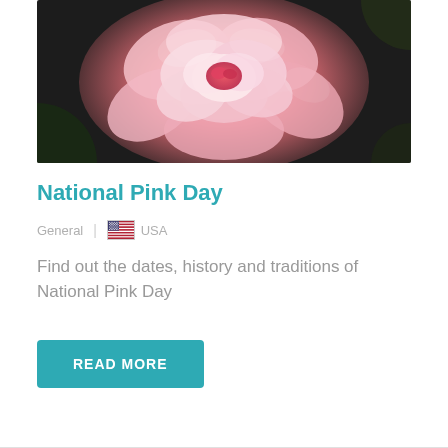[Figure (photo): Close-up photograph of a pink carnation or camellia flower with layered petals, dark green leaves in background]
National Pink Day
General  |  USA
Find out the dates, history and traditions of National Pink Day
READ MORE